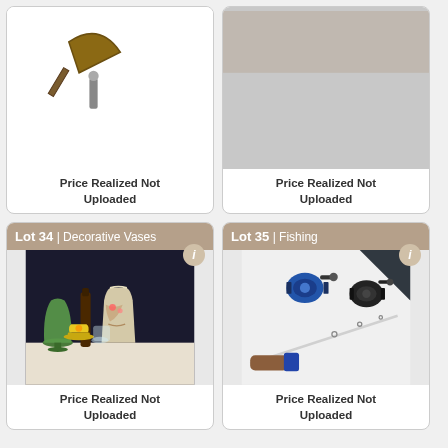[Figure (photo): Partial view of auction lot - tools/hardware items on white background, top portion of card visible]
Price Realized Not Uploaded
[Figure (photo): Partial view of auction lot - top of card only visible, items partially cropped]
Price Realized Not Uploaded
Lot 34 | Decorative Vases
[Figure (photo): Collection of decorative vases and planters: green glass goblet-style vase, tall dark amber bottle vase, large cream/brown marbled ceramic vase with floral design, yellow ceramic pot with saucer, small clear glass jar]
Price Realized Not Uploaded
Lot 35 | Fishing
[Figure (photo): Fishing equipment: blue fishing reel/baitcaster, black spinning reel, fishing rod with brown cork handle and blue reel seat, on white background]
Price Realized Not Uploaded